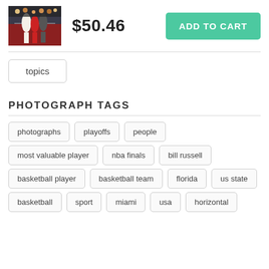[Figure (photo): Thumbnail of a basketball scene showing players on court]
$50.46
ADD TO CART
topics
PHOTOGRAPH TAGS
photographs
playoffs
people
most valuable player
nba finals
bill russell
basketball player
basketball team
florida
us state
basketball
sport
miami
usa
horizontal